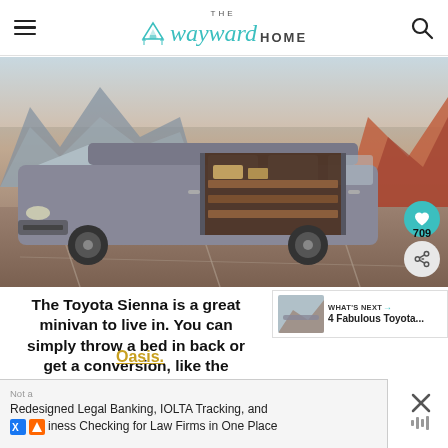The Wayward Home
[Figure (photo): A gray Toyota Sienna minivan with sliding door open revealing wooden camper van conversion interior, parked in a lot with red rock formations and mountains in background. Heart icon and share button (709 shares) overlaid on bottom right.]
The Toyota Sienna is a great minivan to live in. You can simply throw a bed in back or get a conversion, like the Oasis.
WHAT'S NEXT → 4 Fabulous Toyota...
Oasis.
Not a
Redesigned Legal Banking, IOLTA Tracking, and Business Checking for Law Firms in One Place